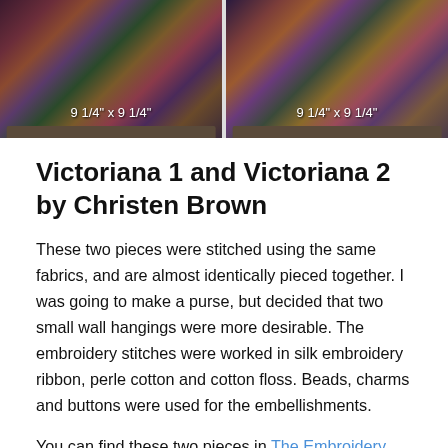[Figure (photo): Two floral fabric wall hangings side by side, each labeled '9 1/4" x 9 1/4"', showing dark richly colored floral patterns with frames at the bottom.]
Victoriana 1 and Victoriana 2 by Christen Brown
These two pieces were stitched using the same fabrics, and are almost identically pieced together. I was going to make a purse, but decided that two small wall hangings were more desirable. The embroidery stitches were worked in silk embroidery ribbon, perle cotton and cotton floss. Beads, charms and buttons were used for the embellishments.
You can find these two pieces in The Embroidery Book by C&T Publishing.